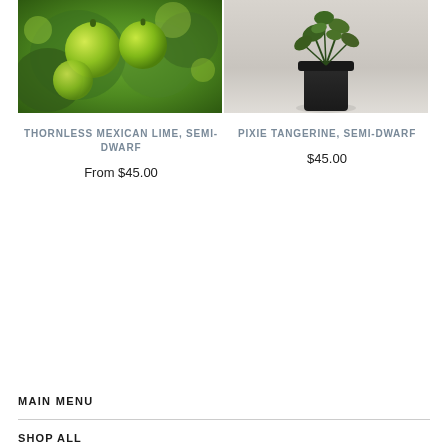[Figure (photo): Close-up photo of green limes on a tree with bokeh background]
[Figure (photo): Small plant in a black nursery pot on a light background]
THORNLESS MEXICAN LIME, SEMI-DWARF
From $45.00
PIXIE TANGERINE, SEMI-DWARF
$45.00
MAIN MENU
SHOP ALL